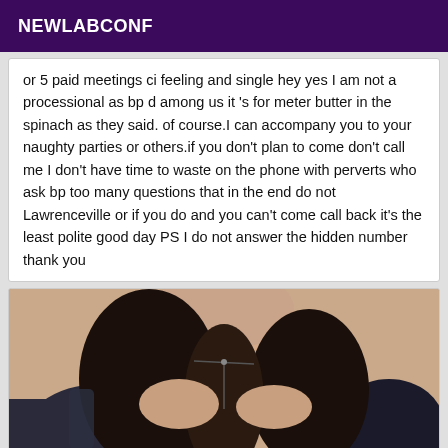NEWLABCONF
or 5 paid meetings ci feeling and single hey yes I am not a processional as bp d among us it 's for meter butter in the spinach as they said. of course.I can accompany you to your naughty parties or others.if you don't plan to come don't call me I don't have time to waste on the phone with perverts who ask bp too many questions that in the end do not Lawrenceville or if you do and you can't come call back it's the least polite good day PS I do not answer the hidden number thank you
[Figure (photo): A woman with long dark curly hair wearing a dark outfit with a necklace, photographed from shoulders up against a light background.]